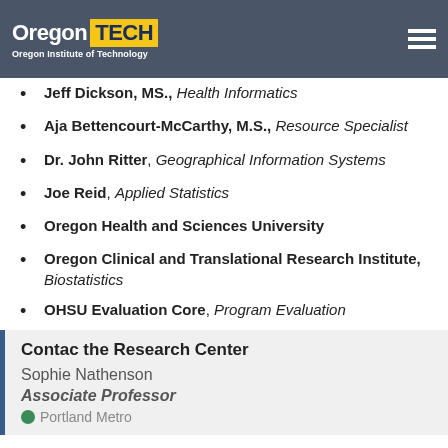Oregon TECH — Oregon Institute of Technology
Dr. Kyle Chapman, Ph.D., Population Health Management
Jeff Dickson, MS., Health Informatics
Aja Bettencourt-McCarthy, M.S., Resource Specialist
Dr. John Ritter, Geographical Information Systems
Joe Reid, Applied Statistics
Oregon Health and Sciences University
Oregon Clinical and Translational Research Institute, Biostatistics
OHSU Evaluation Core, Program Evaluation
Contac the Research Center
Sophie Nathenson
Associate Professor
Portland Metro